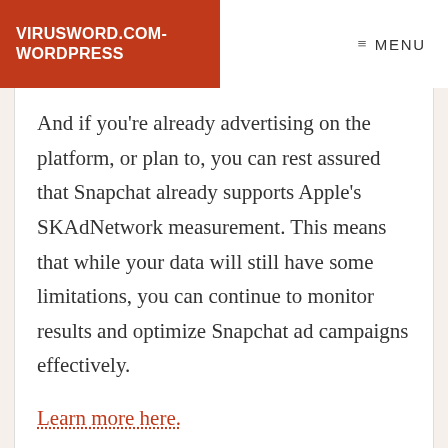VIRUSWORD.COM-WORDPRESS
≡ MENU
And if you're already advertising on the platform, or plan to, you can rest assured that Snapchat already supports Apple's SKAdNetwork measurement. This means that while your data will still have some limitations, you can continue to monitor results and optimize Snapchat ad campaigns effectively.
Learn more here.